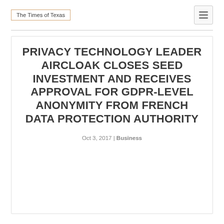The Times of Texas
PRIVACY TECHNOLOGY LEADER AIRCLOAK CLOSES SEED INVESTMENT AND RECEIVES APPROVAL FOR GDPR-LEVEL ANONYMITY FROM FRENCH DATA PROTECTION AUTHORITY
Oct 3, 2017 | Business